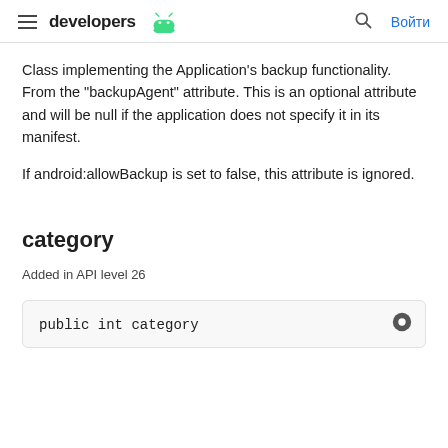developers [android logo] | [search] Войти
Class implementing the Application's backup functionality. From the "backupAgent" attribute. This is an optional attribute and will be null if the application does not specify it in its manifest.
If android:allowBackup is set to false, this attribute is ignored.
category
Added in API level 26
public int category